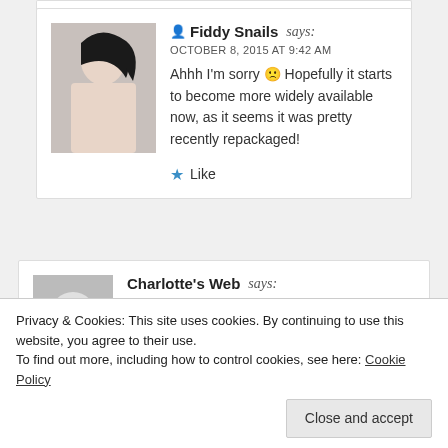Fiddy Snails says: OCTOBER 8, 2015 AT 9:42 AM — Ahhh I'm sorry 🙁 Hopefully it starts to become more widely available now, as it seems it was pretty recently repackaged! ★ Like
Charlotte's Web says: OCTOBER 10, 2015 AT 6:15 PM
Privacy & Cookies: This site uses cookies. By continuing to use this website, you agree to their use. To find out more, including how to control cookies, see here: Cookie Policy